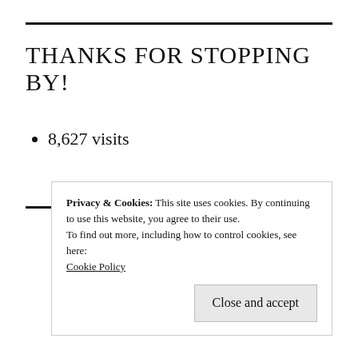THANKS FOR STOPPING BY!
8,627 visits
[Figure (logo): SAQA logo with copper/bronze colored A and grey S, Q letters with TM mark]
Privacy & Cookies: This site uses cookies. By continuing to use this website, you agree to their use.
To find out more, including how to control cookies, see here:
Cookie Policy
Close and accept